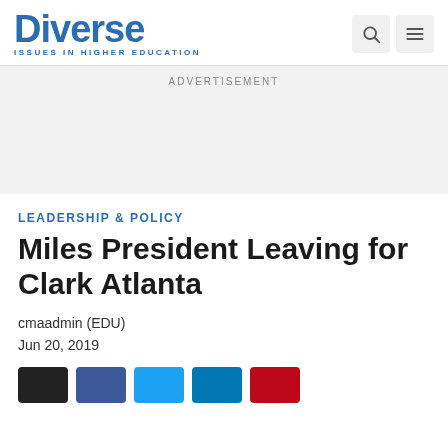Diverse ISSUES IN HIGHER EDUCATION
ADVERTISEMENT
LEADERSHIP & POLICY
Miles President Leaving for Clark Atlanta
cmaadmin (EDU)
Jun 20, 2019
[Figure (other): Social media share buttons: dark/black, Facebook blue, Twitter light blue, LinkedIn blue, Pinterest red]